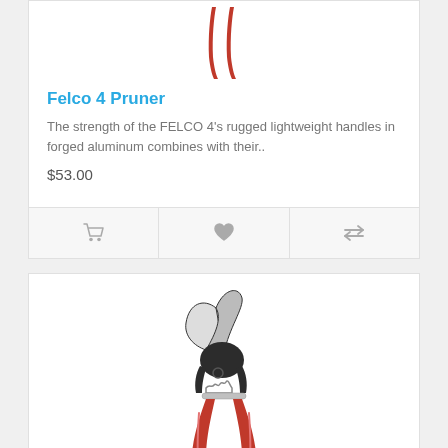[Figure (photo): Top portion of FELCO 4 pruner handles (red), shown from above, cropped at top of page]
Felco 4 Pruner
The strength of the FELCO 4's rugged lightweight handles in forged aluminum combines with their..
$53.00
[Figure (infographic): Three action icons: shopping cart, heart/wishlist, and compare arrows]
[Figure (photo): Full FELCO pruner with black body and red handles, shown at an angle]